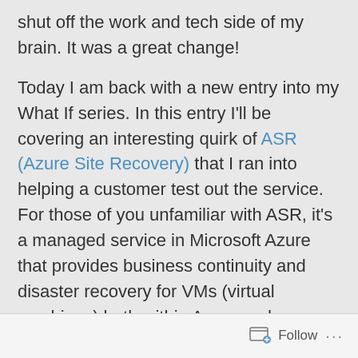shut off the work and tech side of my brain. It was a great change!
Today I am back with a new entry into my What If series. In this entry I'll be covering an interesting quirk of ASR (Azure Site Recovery) that I ran into helping a customer test out the service. For those of you unfamiliar with ASR, it's a managed service in Microsoft Azure that provides business continuity and disaster recovery for VMs (virtual machines) both within Azure and on-premises. It can also be used to when migrating VMs from on-premises to Azure, between regions, or between availability zones.
With the quick introduction to the service out of the way, let's get to it.
Follow ···